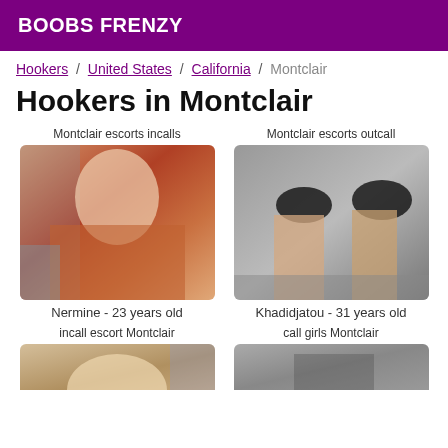BOOBS FRENZY
Hookers / United States / California / Montclair
Hookers in Montclair
Montclair escorts incalls
[Figure (photo): Woman with blonde hair in red top]
Nermine - 23 years old
Montclair escorts outcall
[Figure (photo): Legs with black high heels on pavement]
Khadidjatou - 31 years old
incall escort Montclair
[Figure (photo): Partial image of person with blonde hair]
call girls Montclair
[Figure (photo): Partial grayscale image]